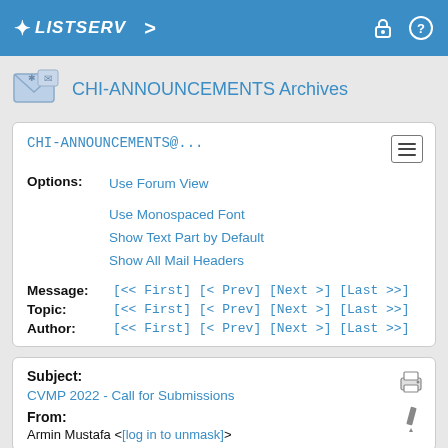LISTSERV
CHI-ANNOUNCEMENTS Archives
CHI-ANNOUNCEMENTS@...
Options: Use Forum View
Use Monospaced Font
Show Text Part by Default
Show All Mail Headers
Message: [<< First] [< Prev] [Next >] [Last >>]
Topic: [<< First] [< Prev] [Next >] [Last >>]
Author: [<< First] [< Prev] [Next >] [Last >>]
Subject: CVMP 2022 - Call for Submissions
From: Armin Mustafa <[log in to unmask]>